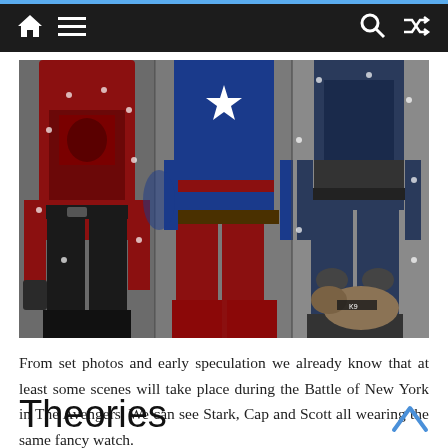Navigation bar with home, menu, search, and shuffle icons
[Figure (photo): Set photo showing three Marvel characters walking: Ant-Man in red and black suit on left, Captain America in blue and red suit in center, and a third character in dark blue tactical gear on right with a dog beside them. Ground level / legs-only view.]
From set photos and early speculation we already know that at least some scenes will take place during the Battle of New York in The Avengers. We can see Stark, Cap and Scott all wearing the same fancy watch.
Theories